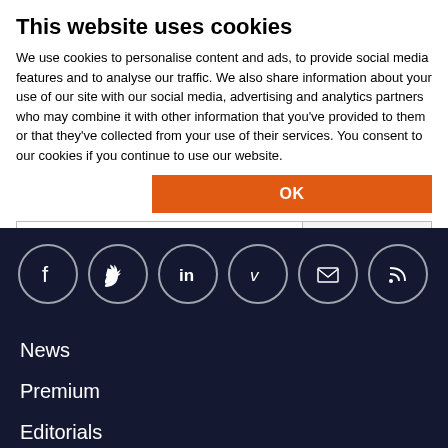This website uses cookies
We use cookies to personalise content and ads, to provide social media features and to analyse our traffic. We also share information about your use of our site with our social media, advertising and analytics partners who may combine it with other information that you've provided to them or that they've collected from your use of their services. You consent to our cookies if you continue to use our website.
[Figure (other): Orange OK button and cookie consent options row with checkboxes for Necessary, Preferences, Statistics, Marketing, and a Show details dropdown]
[Figure (infographic): Dark navy footer bar with six circular social media icons: Facebook, Twitter, LinkedIn, Vimeo, Email, RSS]
News
Premium
Editorials
Partners